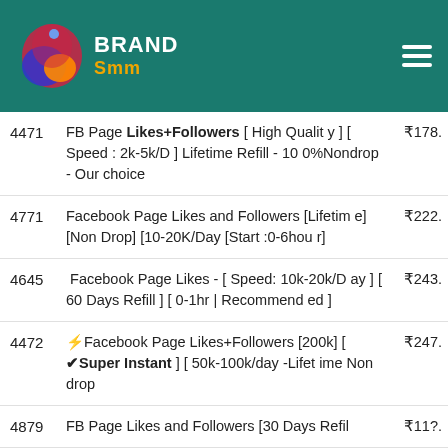BRAND Smm
4471 | FB Page Likes+Followers [ High Quality ] [ Speed : 2k-5k/D ] Lifetime Refill - 100%Nondrop - Our choice | ₹178.
4771 | Facebook Page Likes and Followers [Lifetime] [Non Drop] [10-20K/Day [Start :0-6hour] | ₹222.
4645 | Facebook Page Likes - [ Speed: 10k-20k/Day ] [ 60 Days Refill ] [ 0-1hr | Recommended ] | ₹243.
4472 | ⚡Facebook Page Likes+Followers [200k] [ ✔Super Instant ] [ 50k-100k/day -Lifetime Non drop | ₹247.
4879 | FB Page Likes and Followers [30 Days Refil | ₹11?.